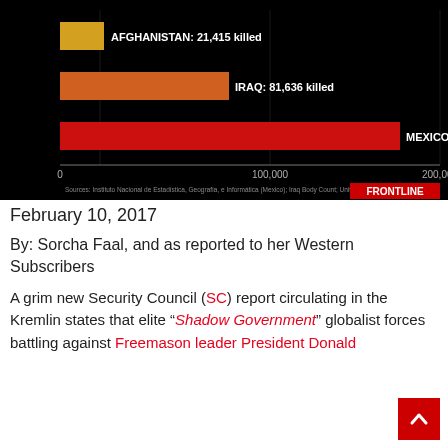[Figure (bar-chart): Killed comparisons]
February 10, 2017
By: Sorcha Faal, and as reported to her Western Subscribers
A grim new Security Council (SC) report circulating in the Kremlin states that elite “Shadow Government” globalist forces battling against Freemason leader President Donald